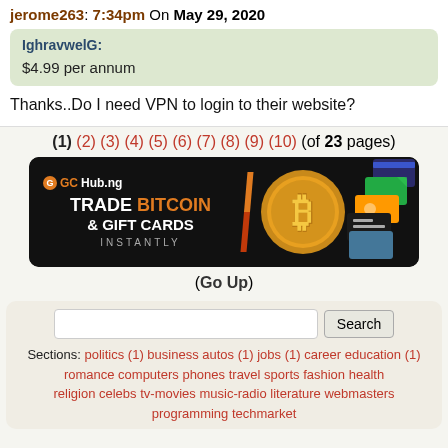jerome263: 7:34pm On May 29, 2020
IghravwelG:
$4.99 per annum
Thanks..Do I need VPN to login to their website?
(1) (2) (3) (4) (5) (6) (7) (8) (9) (10) (of 23 pages)
[Figure (illustration): GCHub.ng advertisement banner: Trade Bitcoin & Gift Cards Instantly]
(Go Up)
Sections: politics (1) business autos (1) jobs (1) career education (1) romance computers phones travel sports fashion health religion celebs tv-movies music-radio literature webmasters programming techmarket